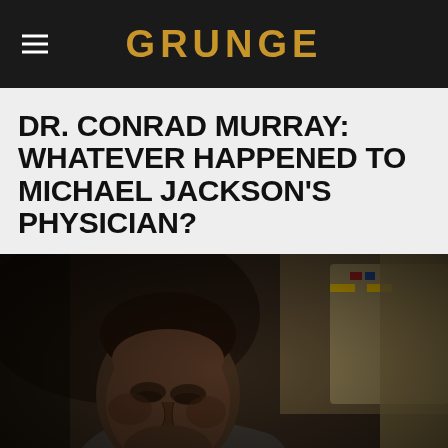GRUNGE
DR. CONRAD MURRAY: WHATEVER HAPPENED TO MICHAEL JACKSON'S PHYSICIAN?
[Figure (photo): A man (Dr. Conrad Murray) seated, appearing somber, with hands clasped near his face. A uniformed officer stands behind him. Dark, cinematic courtroom-style photo.]